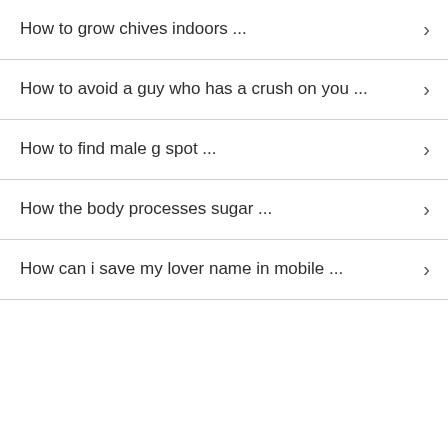How to grow chives indoors ...
How to avoid a guy who has a crush on you ...
How to find male g spot ...
How the body processes sugar ...
How can i save my lover name in mobile ...